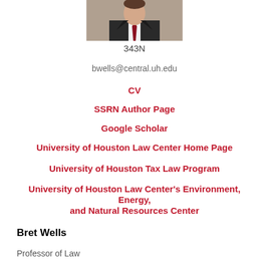[Figure (photo): Headshot photo of a man in a suit with a red tie against a light background]
343N
bwells@central.uh.edu
CV
SSRN Author Page
Google Scholar
University of Houston Law Center Home Page
University of Houston Tax Law Program
University of Houston Law Center's Environment, Energy, and Natural Resources Center
Bret Wells
Professor of Law